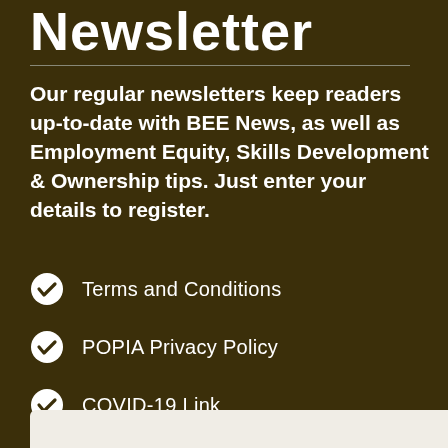Newsletter
Our regular newsletters keep readers up-to-date with BEE News, as well as Employment Equity, Skills Development & Ownership tips. Just enter your details to register.
Terms and Conditions
POPIA Privacy Policy
COVID-19 Link